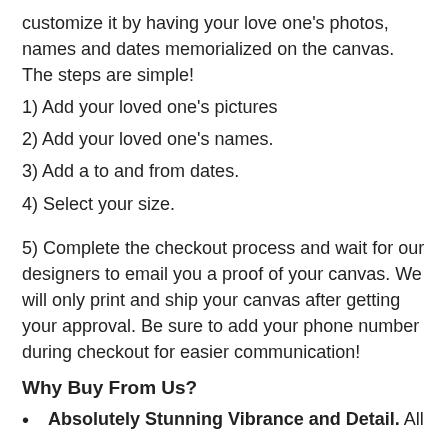customize it by having your love one's photos, names and dates memorialized on the canvas. The steps are simple!
1) Add your loved one's pictures
2) Add your loved one's names.
3) Add a to and from dates.
4) Select your size.
5) Complete the checkout process and wait for our designers to email you a proof of your canvas. We will only print and ship your canvas after getting your approval. Be sure to add your phone number during checkout for easier communication!
Why Buy From Us?
Absolutely Stunning Vibrance and Detail. All